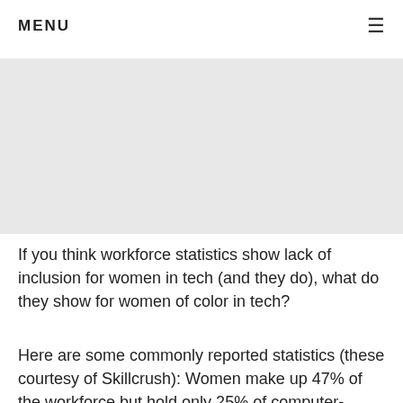MENU ≡
[Figure (photo): Large placeholder image area (gray/white rectangle) taking up roughly the upper-center portion of the page]
If you think workforce statistics show lack of inclusion for women in tech (and they do), what do they show for women of color in tech?
Here are some commonly reported statistics (these courtesy of Skillcrush): Women make up 47% of the workforce but hold only 25% of computer-science